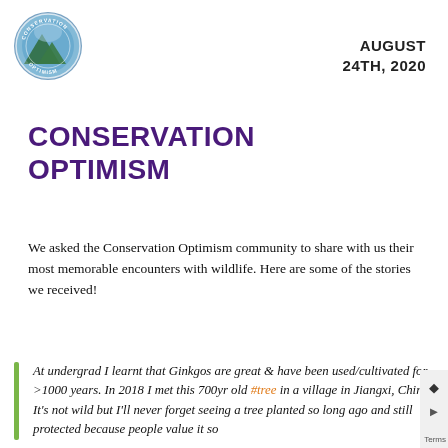[Figure (logo): Conservation Optimism circular logo with nature/mountain imagery and text 'CONSERVATION OPTIMISM' around the border]
AUGUST 24TH, 2020
CONSERVATION OPTIMISM
We asked the Conservation Optimism community to share with us their most memorable encounters with wildlife. Here are some of the stories we received!
At undergrad I learnt that Ginkgos are great & have been used/cultivated for >1000 years. In 2018 I met this 700yr old #tree in a village in Jiangxi, China. It's not wild but I'll never forget seeing a tree planted so long ago and still protected because people value it so